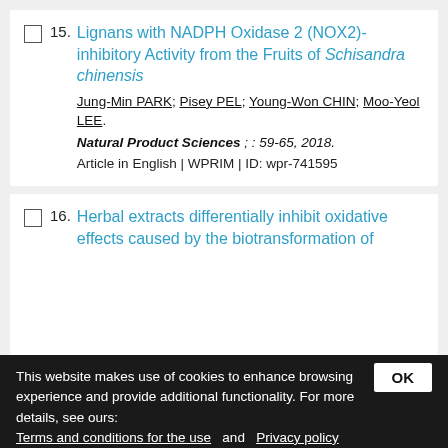15. Lignans with NADPH Oxidase 2 (NOX2)-inhibitory Activity from the Fruits of Schisandra chinensis
Jung-Min PARK; Pisey PEL; Young-Won CHIN; Moo-Yeol LEE.
Natural Product Sciences ; : 59-65, 2018.
Article in English | WPRIM | ID: wpr-741595
16. Herbal extracts differentially inhibit oxidative effects caused by the biotransformation of
This website makes use of cookies to enhance browsing experience and provide additional functionality. For more details, see ours: Terms and conditions for the use and Privacy policy